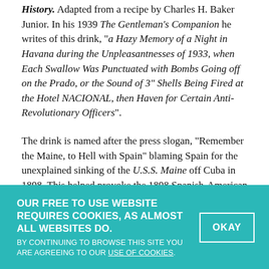History. Adapted from a recipe by Charles H. Baker Junior. In his 1939 The Gentleman's Companion he writes of this drink, "a Hazy Memory of a Night in Havana during the Unpleasantnesses of 1933, when Each Swallow Was Punctuated with Bombs Going off on the Prado, or the Sound of 3" Shells Being Fired at the Hotel NACIONAL, then Haven for Certain Anti-Revolutionary Officers".
The drink is named after the press slogan, "Remember the Maine, to Hell with Spain" blaming Spain for the unexplained sinking of the U.S.S. Maine off Cuba in 1898. This helped provoke the 1898 Spanish-American War.
OUR FREE TO USE WEBSITE REQUIRES COOKIES, AS ALMOST ALL WEBSITES DO. BY CONTINUING TO BROWSE THIS SITE YOU ARE AGREEING TO OUR USE OF COOKIES. OKAY